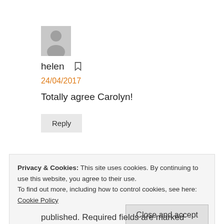[Figure (photo): Gray avatar placeholder icon showing a person silhouette]
helen [bookmark icon]
24/04/2017
Totally agree Carolyn!
Reply
Privacy & Cookies: This site uses cookies. By continuing to use this website, you agree to their use.
To find out more, including how to control cookies, see here: Cookie Policy
Close and accept
published. Required fields are marked